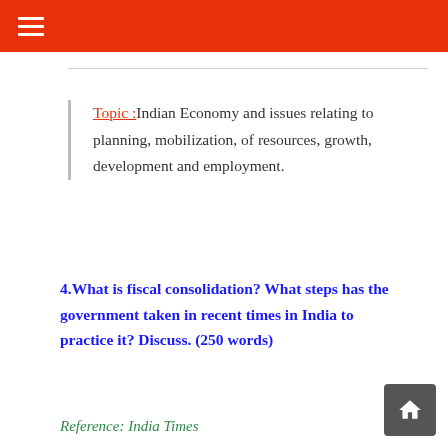☰
Topic: Indian Economy and issues relating to planning, mobilization, of resources, growth, development and employment.
4.What is fiscal consolidation? What steps has the government taken in recent times in India to practice it? Discuss. (250 words)
Reference: India Times